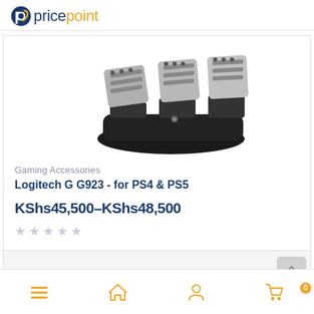pricepoint
[Figure (photo): Logitech G G923 racing pedals set - black base with three metallic pedals]
Gaming Accessories
Logitech G G923 - for PS4 & PS5
KShs45,500–KShs48,500
★★★★★ (empty star rating)
Bottom navigation: menu, home, user, cart (0)